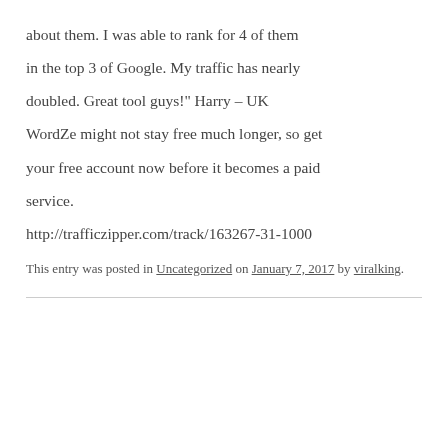about them. I was able to rank for 4 of them

in the top 3 of Google. My traffic has nearly

doubled. Great tool guys!" Harry – UK

WordZe might not stay free much longer, so get

your free account now before it becomes a paid

service.

http://trafficzipper.com/track/163267-31-1000
This entry was posted in Uncategorized on January 7, 2017 by viralking.